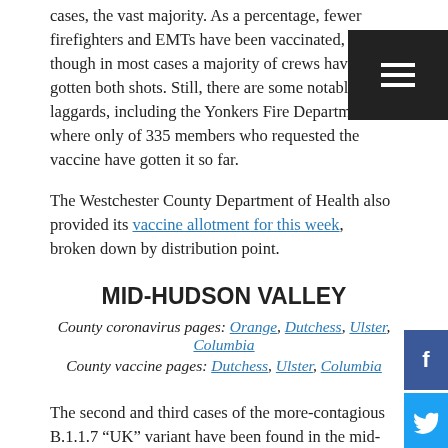cases, the vast majority. As a percentage, fewer firefighters and EMTs have been vaccinated, though in most cases a majority of crews have gotten both shots. Still, there are some notable laggards, including the Yonkers Fire Department, where only of 335 members who requested the vaccine have gotten it so far.
The Westchester County Department of Health also provided its vaccine allotment for this week, broken down by distribution point.
MID-HUDSON VALLEY
County coronavirus pages: Orange, Dutchess, Ulster, Columbia
County vaccine pages: Dutchess, Ulster, Columbia
The second and third cases of the more-contagious B.1.1.7 “UK” variant have been found in the mid-Hudson region. Dutchess County Executive Marc Molinaro released a statement on Facebook on Saturday saying he had just learned of one local infection from the state Department of Health; a case was also discovered in Ulster County, according to LoHud, the county’s second. No cases have been found in Orange County, and health